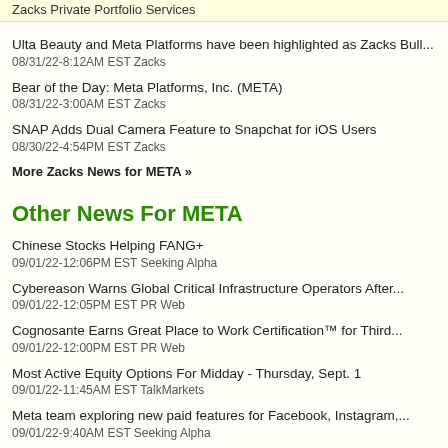Zacks Private Portfolio Services
Ulta Beauty and Meta Platforms have been highlighted as Zacks Bull...
08/31/22-8:12AM EST Zacks
Bear of the Day: Meta Platforms, Inc. (META)
08/31/22-3:00AM EST Zacks
SNAP Adds Dual Camera Feature to Snapchat for iOS Users
08/30/22-4:54PM EST Zacks
More Zacks News for META »
Other News For META
Chinese Stocks Helping FANG+
09/01/22-12:06PM EST Seeking Alpha
Cybereason Warns Global Critical Infrastructure Operators After...
09/01/22-12:05PM EST PR Web
Cognosante Earns Great Place to Work Certification™ for Third...
09/01/22-12:00PM EST PR Web
Most Active Equity Options For Midday - Thursday, Sept. 1
09/01/22-11:45AM EST TalkMarkets
Meta team exploring new paid features for Facebook, Instagram,...
09/01/22-9:40AM EST Seeking Alpha